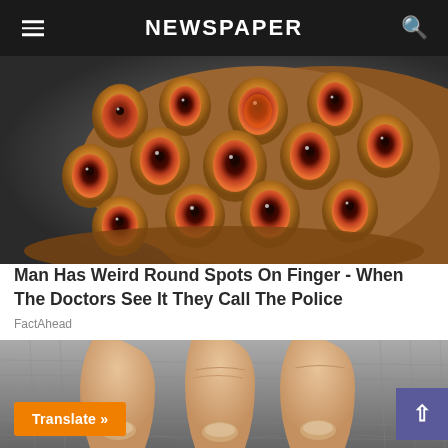NEWSPAPER
[Figure (photo): Close-up macro photo of a lotus seed pod with dark round holes resembling eyes, orange-brown coloring, dramatic lighting against a grey background]
Man Has Weird Round Spots On Finger - When The Doctors See It They Call The Police
FactAhead
[Figure (photo): Close-up photo of human fingers with fingernails touching or petting grey fur, possibly a pet]
Translate »